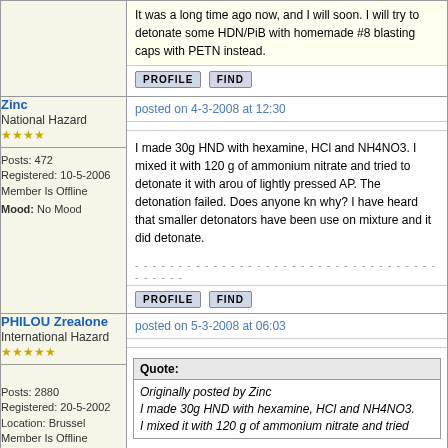It was a long time ago now, and I will soon. I will try to detonate some HDN/PiB with homemade #8 blasting caps with PETN instead.
PROFILE   FIND
Zinc
National Hazard
★★★★
Posts: 472
Registered: 10-5-2006
Member Is Offline
Mood: No Mood
posted on 4-3-2008 at 12:30
I made 30g HND with hexamine, HCl and NH4NO3. I mixed it with 120 g of ammonium nitrate and tried to detonate it with around of lightly pressed AP. The detonation failed. Does anyone know why? I have heard that smaller detonators have been use on mixture and it did detonate.
PROFILE   FIND
PHILOU Zrealone
International Hazard
★★★★★
Posts: 2880
Registered: 20-5-2002
Location: Brussel
Member Is Offline
posted on 5-3-2008 at 06:03
Quote:
Originally posted by Zinc
I made 30g HND with hexamine, HCl and NH4NO3.
I mixed it with 120 g of ammonium nitrate and tried